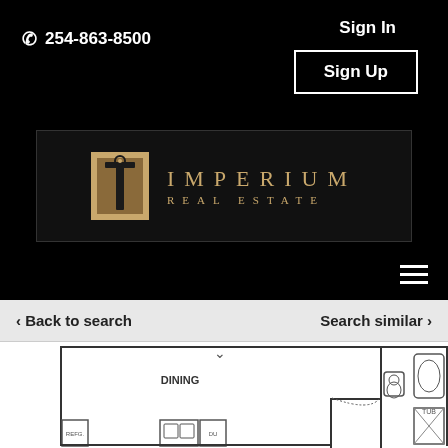254-863-8500
Sign In
Sign Up
[Figure (logo): Imperium Real Estate logo with golden 'I' icon on dark background and gold lettered text 'IMPERIUM REAL ESTATE']
< Back to search
Search similar >
[Figure (engineering-diagram): Floor plan showing dining area with refrigerator, dishwasher, and bathroom with tub]